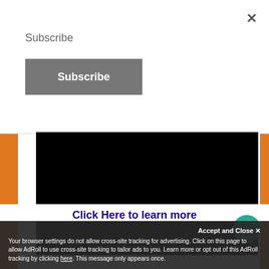×
Subscribe
Subscribe
[Figure (screenshot): Dark black banner with italic bold heading 'Naughty Events' and body text: 'Naughty Events is the premier swinger/lifestyle/nudist/BDSM and sex positive events producer in the country - including the amazing Nughty in N'awlins, as well as several other exciting events.']
Click Here to learn more
Upcoming Events
Accept and Close ×
Your browser settings do not allow cross-site tracking for advertising. Click on this page to allow AdRoll to use cross-site tracking to tailor ads to you. Learn more or opt out of this AdRoll tracking by clicking here. This message only appears once.